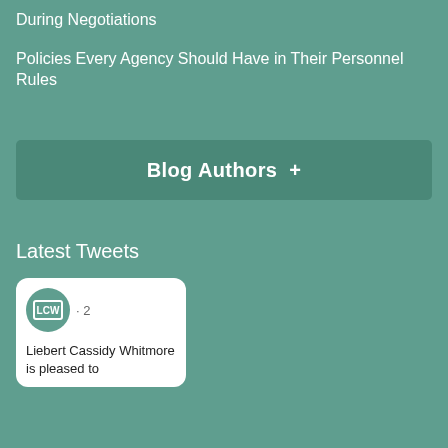During Negotiations
Policies Every Agency Should Have in Their Personnel Rules
Blog Authors +
Latest Tweets
[Figure (other): Tweet card from Liebert Cassidy Whitmore (LCW) showing logo and beginning of tweet text: 'Liebert Cassidy Whitmore is pleased to']